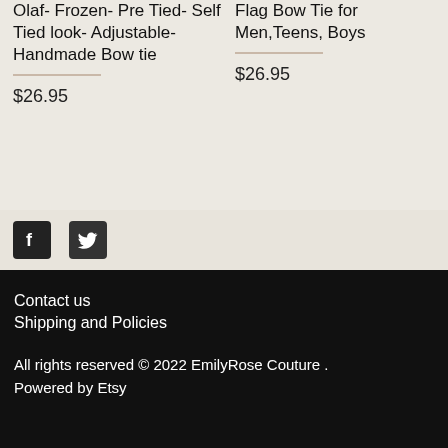Olaf- Frozen- Pre Tied- Self Tied look- Adjustable- Handmade Bow tie
$26.95
Flag Bow Tie for Men,Teens, Boys
$26.95
[Figure (logo): Facebook icon (white F on dark background square)]
[Figure (logo): Twitter bird icon (white bird on dark background square)]
Contact us
Shipping and Policies
All rights reserved © 2022 EmilyRose Couture . Powered by Etsy